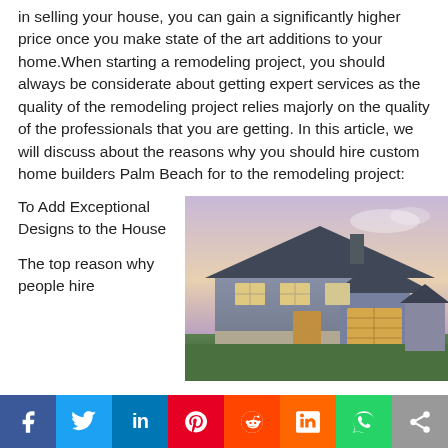in selling your house, you can gain a significantly higher price once you make state of the art additions to your home. When starting a remodeling project, you should always be considerate about getting expert services as the quality of the remodeling project relies majorly on the quality of the professionals that you are getting. In this article, we will discuss about the reasons why you should hire custom home builders Palm Beach for to the remodeling project:
To Add Exceptional Designs to the House
[Figure (photo): A two-story house with attached garage, photographed at dusk with warm interior lighting and a purple sky.]
The top reason why people hire...